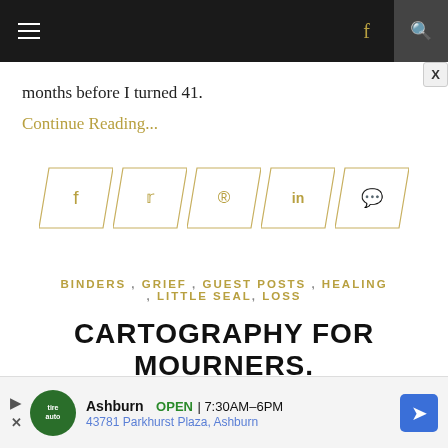Navigation bar with hamburger menu, facebook icon, and search icon
months before I turned 41.
Continue Reading...
[Figure (infographic): Social share bar with parallelogram-shaped buttons for Facebook, Twitter, Pinterest, LinkedIn, and Comment icons in gold color]
BINDERS , GRIEF , GUEST POSTS , HEALING , LITTLE SEAL , LOSS
CARTOGRAPHY FOR MOURNERS.
[Figure (infographic): Advertisement bar for a tire auto shop in Ashburn, showing OPEN 7:30AM-6PM, 43781 Parkhurst Plaza, Ashburn with navigation icon]